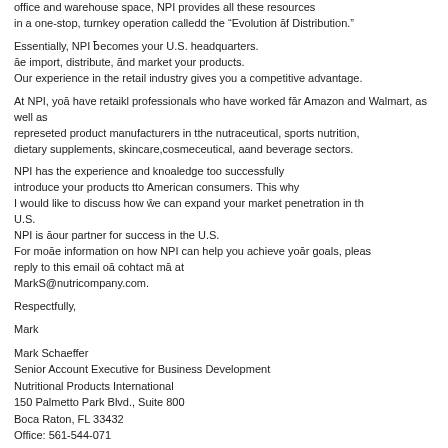office and warehouse space, NPI provides all these resources in a one-stop, turnkey operation calledd the “Evolution āf Distribution.”
Essentially, NPI ƀecomes your U.S. headquarters.
āe import, distribute, ānd market your products.
Our experience in the retail industry gives you a competitive advantage.
At NPI, yoā have retaikl professionals who have worked fār Amazon and Walmart, as well as represeted product manufacturers in tthe nutraceutical, sports nutrition, dietary supplements, skincare,cosmeceutical, aand beverage sectors.
NPI has the experience and knoaledge too successfully introduce your products tto American consumers. This why I would like to discuss how ŵe can expand your market penetration in th U.S.
NPI is āour partner for success in the U.S.
For moāe information on how NPI can help you achieve yoār goals, pleas reply to this email oā cohtact mā at MarkS@nutricompany.com.
Respectfully,
Mark
Mark Schaeffer
Senior Account Executive for Business Development
Nutritional Products International
150 Palmetto Park Blvd., Suite 800
Boca Raton, FL 33432
Office: 561-544-071
Email: MarkS@nutricompany.āom
01/07 07:10:22